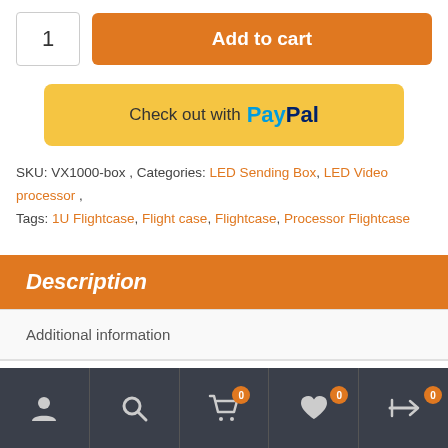1 | Add to cart
[Figure (screenshot): PayPal checkout button with yellow background, 'Check out with PayPal' text]
SKU: VX1000-box , Categories: LED Sending Box, LED Video processor , Tags: 1U Flightcase, Flight case, Flightcase, Processor Flightcase
Description
Additional information
[Figure (screenshot): Bottom navigation bar with user, search, cart (0), wishlist (0), and compare (0) icons on dark background]